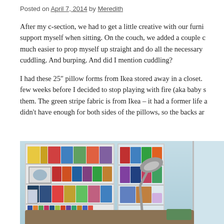Posted on April 7, 2014 by Meredith
After my c-section, we had to get a little creative with our furni... support myself when sitting. On the couch, we added a couple c... much easier to prop myself up straight and do all the necessary ... cuddling. And burping. And did I mention cuddling?
I had these 25″ pillow forms from Ikea stored away in a closet. ... few weeks before I decided to stop playing with fire (aka baby s... them. The green stripe fabric is from Ikea – it had a former life a... didn’t have enough for both sides of the pillows, so the backs ar...
[Figure (photo): Interior photo showing a white built-in bookshelf with colorful books, a silver desk lamp, and a couch with green striped pillow, against a light blue wall.]